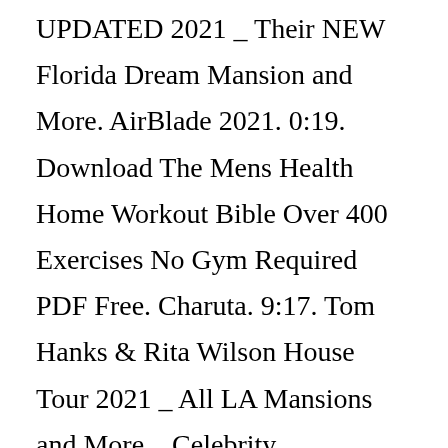UPDATED 2021 _ Their NEW Florida Dream Mansion and More. AirBlade 2021. 0:19. Download The Mens Health Home Workout Bible Over 400 Exercises No Gym Required PDF Free. Charuta. 9:17. Tom Hanks & Rita Wilson House Tour 2021 _ All LA Mansions and More _ Celebrity Lifestyle.American football player. Tom Brady reportedly helped recruit the free-agent wide receiver Russell Gage to the Bucs. Brady had been unretired for one day